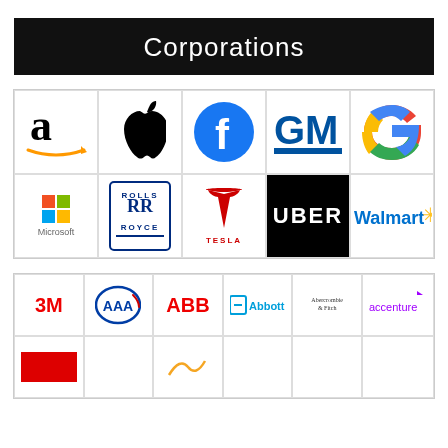Corporations
[Figure (logo): Grid of 10 corporate logos: Amazon, Apple, Facebook, GM, Google (top row); Microsoft, Rolls-Royce, Tesla, Uber, Walmart (bottom row)]
[Figure (logo): Grid of corporate logos including 3M, AAA, ABB, Abbott, Abercrombie & Fitch, Accenture (top row), and partial second row]